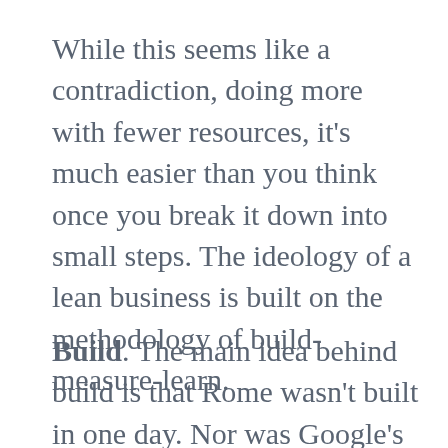While this seems like a contradiction, doing more with fewer resources, it's much easier than you think once you break it down into small steps. The ideology of a lean business is built on the methodology of build-measure-learn.
Build. The main idea behind build is that Rome wasn't built in one day. Nor was Google's Gmail, Apple's iPhone, or mega-retailer, Amazon. Businesses don't start out doing all